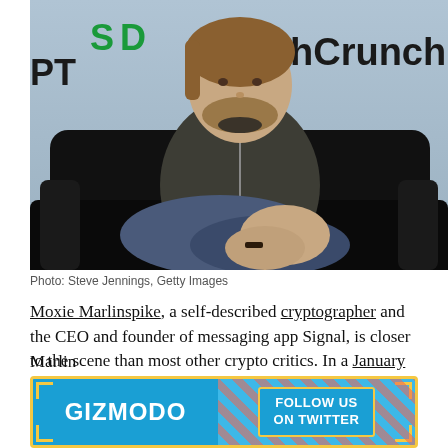[Figure (photo): Photo of Moxie Marlinspike seated in a black leather chair at a TechCrunch event, wearing a dark pullover and jeans, with hands clasped.]
Photo: Steve Jennings, Getty Images
Moxie Marlinspike, a self-described cryptographer and the CEO and founder of messaging app Signal, is closer to the scene than most other crypto critics. In a January blog post, he said that he never had much inclination to dive deeper into so-called “decentralized finance.” When he finally did, his opinions were not all that positive.
[Figure (screenshot): Gizmodo advertisement banner: blue background with GIZMODO logo on left and FOLLOW US ON TWITTER button on right with diagonal stripe decoration and yellow border accents.]
Marlin